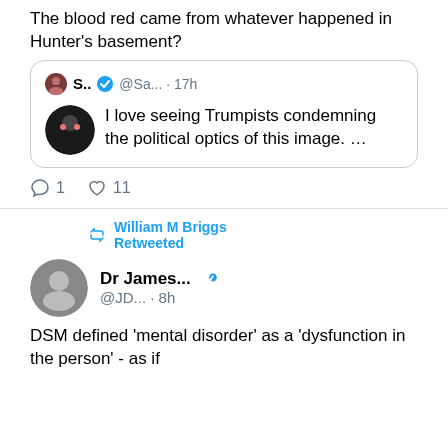The blood red came from whatever happened in Hunter's basement?
[Figure (screenshot): Quoted tweet from S. (verified) @Sa... · 17h with avatar showing: 'I love seeing Trumpists condemning the political optics of this image. ...']
1  11
William M Briggs Retweeted
Dr James... @JD... · 8h
DSM defined 'mental disorder' as a 'dysfunction in the person' - as if